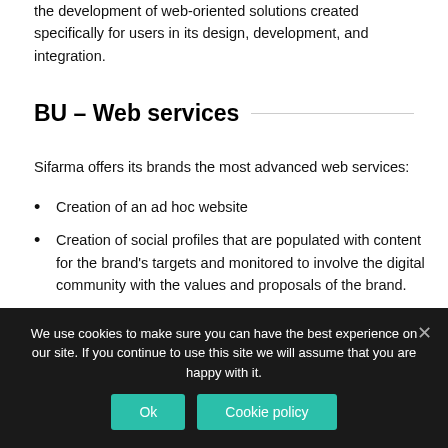the development of web-oriented solutions created specifically for users in its design, development, and integration.
BU – Web services
Sifarma offers its brands the most advanced web services:
Creation of an ad hoc website
Creation of social profiles that are populated with content for the brand's targets and monitored to involve the digital community with the values and proposals of the brand.
Development of dedicated trade apps as well as for the final clients.
We use cookies to make sure you can have the best experience on our site. If you continue to use this site we will assume that you are happy with it.